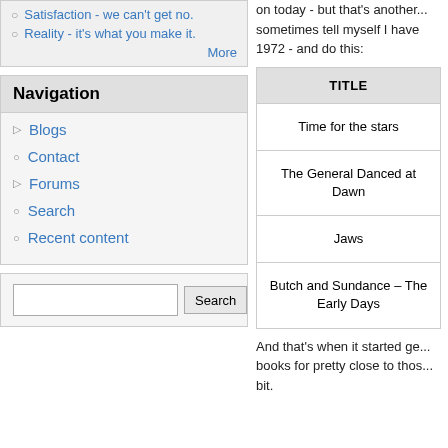Satisfaction - we can't get no.
Reality - it's what you make it.
More
Navigation
Blogs
Contact
Forums
Search
Recent content
on today - but that's another... sometimes tell myself I have 1972 - and do this:
| TITLE |
| --- |
| Time for the stars |
| The General Danced at Dawn |
| Jaws |
| Butch and Sundance – The Early Days |
And that's when it started ge... books for pretty close to thos... bit.